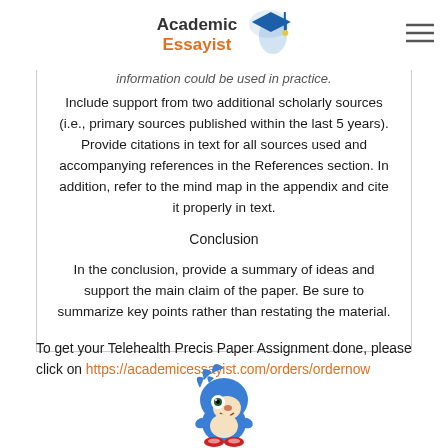Academic Essayist
information could be used in practice. Include support from two additional scholarly sources (i.e., primary sources published within the last 5 years). Provide citations in text for all sources used and accompanying references in the References section. In addition, refer to the mind map in the appendix and cite it properly in text.
Conclusion
In the conclusion, provide a summary of ideas and support the main claim of the paper. Be sure to summarize key points rather than restating the material.
To get your Telehealth Precis Paper Assignment done, please click on https://academicessayist.com/orders/ordernow
[Figure (illustration): Sonic the Hedgehog cartoon character illustration at the bottom of the page]